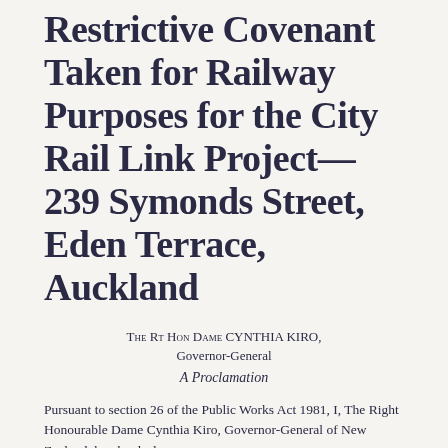Restrictive Covenant Taken for Railway Purposes for the City Rail Link Project—239 Symonds Street, Eden Terrace, Auckland
The Rt Hon Dame CYNTHIA KIRO, Governor-General
A Proclamation
Pursuant to section 26 of the Public Works Act 1981, I, The Right Honourable Dame Cynthia Kiro, Governor-General of New Zealand, hereby declare:
a. the land described in the First Schedule hereto to be taken for railway purposes and vested in the Auckland